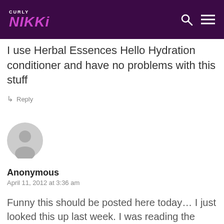CURLY NIKKI
I use Herbal Essences Hello Hydration conditioner and have no problems with this stuff
↳ Reply
[Figure (illustration): Gray circular avatar icon with silhouette of a person]
Anonymous
April 11, 2012 at 3:36 am
Funny this should be posted here today… I just looked this up last week. I was reading the ingredients of one